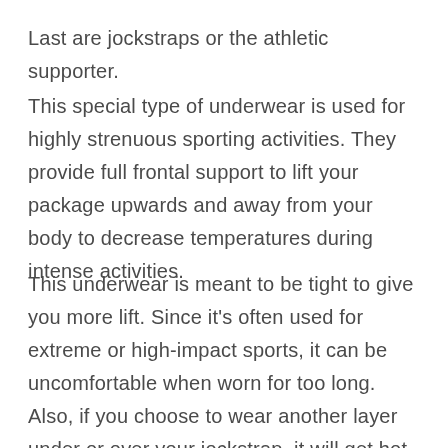Last are jockstraps or the athletic supporter.
This special type of underwear is used for highly strenuous sporting activities. They provide full frontal support to lift your package upwards and away from your body to decrease temperatures during intense activities.
This underwear is meant to be tight to give you more lift. Since it’s often used for extreme or high-impact sports, it can be uncomfortable when worn for too long.
Also, if you choose to wear another layer under or over your jockstrap, it will get hot and moist in your